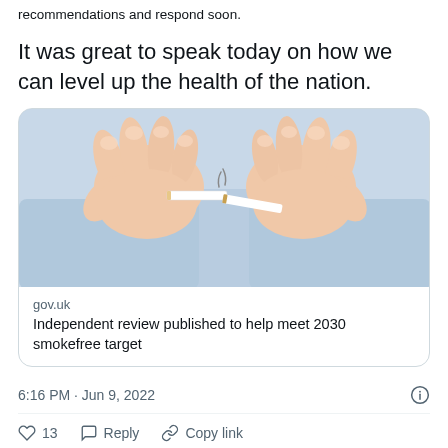recommendations and respond soon.
It was great to speak today on how we can level up the health of the nation.
[Figure (photo): Two hands breaking a cigarette in half against a light blue shirt background]
gov.uk
Independent review published to help meet 2030 smokefree target
6:16 PM · Jun 9, 2022
13  Reply  Copy link